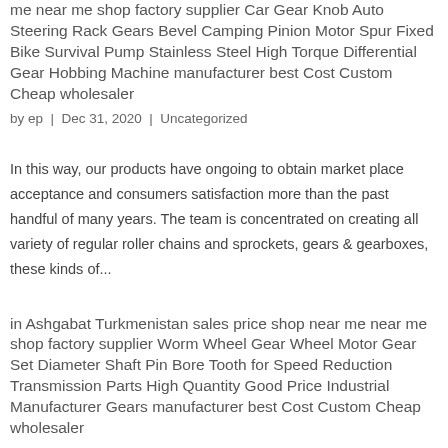me near me shop factory supplier Car Gear Knob Auto Steering Rack Gears Bevel Camping Pinion Motor Spur Fixed Bike Survival Pump Stainless Steel High Torque Differential Gear Hobbing Machine manufacturer best Cost Custom Cheap wholesaler
by ep | Dec 31, 2020 | Uncategorized
In this way, our products have ongoing to obtain market place acceptance and consumers satisfaction more than the past handful of many years. The team is concentrated on creating all variety of regular roller chains and sprockets, gears & gearboxes, these kinds of...
in Ashgabat Turkmenistan sales price shop near me near me shop factory supplier Worm Wheel Gear Wheel Motor Gear Set Diameter Shaft Pin Bore Tooth for Speed Reduction Transmission Parts High Quantity Good Price Industrial Manufacturer Gears manufacturer best Cost Custom Cheap wholesaler
by ep | Dec 31, 2020 | Uncategorized